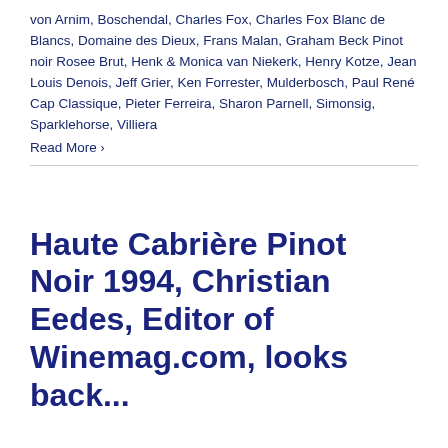von Arnim, Boschendal, Charles Fox, Charles Fox Blanc de Blancs, Domaine des Dieux, Frans Malan, Graham Beck Pinot noir Rosee Brut, Henk & Monica van Niekerk, Henry Kotze, Jean Louis Denois, Jeff Grier, Ken Forrester, Mulderbosch, Paul René Cap Classique, Pieter Ferreira, Sharon Parnell, Simonsig, Sparklehorse, Villiera
Read More ›
Haute Cabrière Pinot Noir 1994, Christian Eedes, Editor of Winemag.com, looks back...
Winemag.com, an excellent source of wine information, Christian Eedes writes for us...